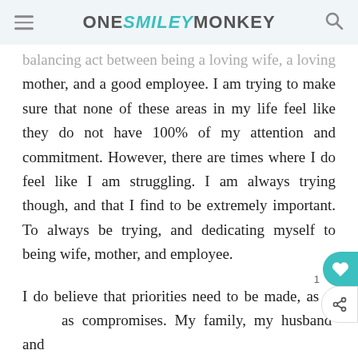ONE SMILEY MONKEY
balancing act between being a loving wife, a loving mother, and a good employee. I am trying to make sure that none of these areas in my life feel like they do not have 100% of my attention and commitment. However, there are times where I do feel like I am struggling. I am always trying though, and that I find to be extremely important. To always be trying, and dedicating myself to being wife, mother, and employee.
I do believe that priorities need to be made, as well as compromises. My family, my husband and daughter, are my main priority. When I am with them, I dedicate my time and attention to them. I feel that